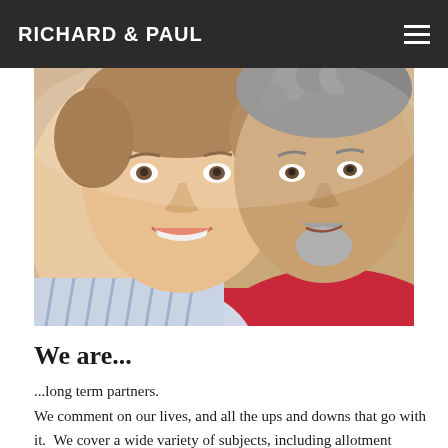RICHARD & PAUL
[Figure (photo): Close-up photo of two middle-aged men smiling. The man on the left wears a blue striped shirt and has light brown hair. The man on the right wears a red shirt and has curly grey hair and a grey goatee beard.]
We are...
...long term partners.
We comment on our lives, and all the ups and downs that go with it.  We cover a wide variety of subjects, including allotment growing, recipes, comedy, vlogs and whatever else takes our fancy.